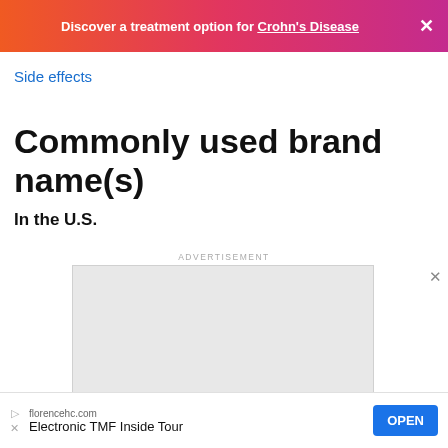Discover a treatment option for Crohn's Disease
Side effects
Commonly used brand name(s)
In the U.S.
ADVERTISEMENT
[Figure (other): Gray advertisement placeholder box]
ADVERTISEMENT
florencehc.com Electronic TMF Inside Tour OPEN